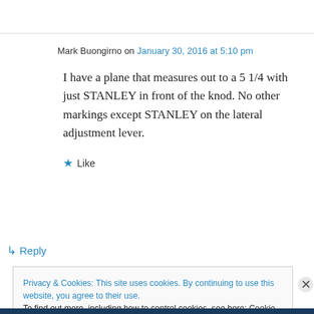Mark Buongirno on January 30, 2016 at 5:10 pm
I have a plane that measures out to a 5 1/4 with just STANLEY in front of the knod. No other markings except STANLEY on the lateral adjustment lever.
★ Like
↳ Reply
Privacy & Cookies: This site uses cookies. By continuing to use this website, you agree to their use.
To find out more, including how to control cookies, see here: Cookie Policy